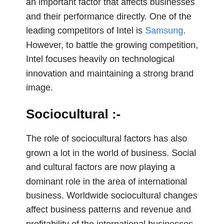international business. Competition is also an important factor that affects businesses and their performance directly. One of the leading competitors of Intel is Samsung. However, to battle the growing competition, Intel focuses heavily on technological innovation and maintaining a strong brand image.
Sociocultural :-
The role of sociocultural factors has also grown a lot in the world of business. Social and cultural factors are now playing a dominant role in the area of international business. Worldwide sociocultural changes affect business patterns and revenue and profitability of the international businesses. With growing use of internet and computing globally, the business of companies like Intel has grown. Moreover, sociocultural factors are affecting how businesses market their brands and